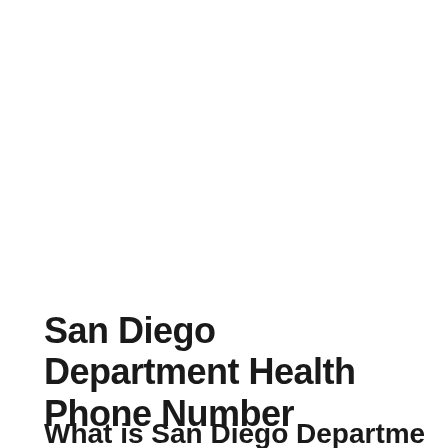San Diego Department Health Phone Number
What is San Diego Department